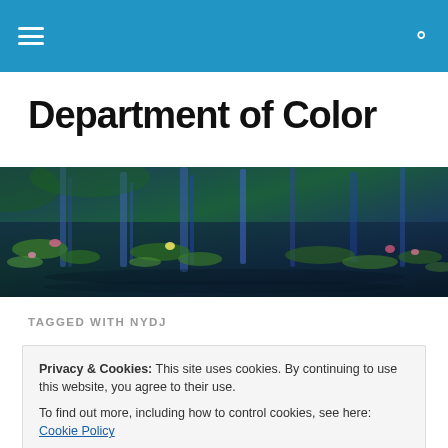navigation bar with menu and search icons
Department of Color
[Figure (photo): Monet-style water lilies painting used as a banner image with blues, greens, and purples across a pond.]
TAGGED WITH NYDJ
Privacy & Cookies: This site uses cookies. By continuing to use this website, you agree to their use. To find out more, including how to control cookies, see here: Cookie Policy
Close and accept
actually not that different from what I had before– but the